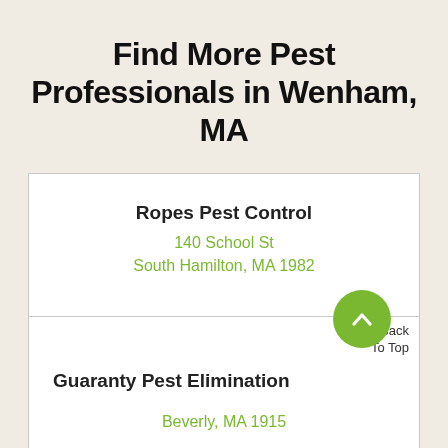Find More Pest Professionals in Wenham, MA
Ropes Pest Control
140 School St
South Hamilton, MA 1982
Back
To Top
Guaranty Pest Elimination
Beverly, MA 1915